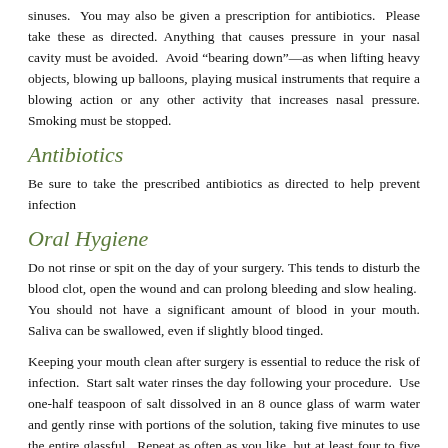sinuses.  You may also be given a prescription for antibiotics.  Please take these as directed. Anything that causes pressure in your nasal cavity must be avoided.  Avoid “bearing down”—as when lifting heavy objects, blowing up balloons, playing musical instruments that require a blowing action or any other activity that increases nasal pressure. Smoking must be stopped.
Antibiotics
Be sure to take the prescribed antibiotics as directed to help prevent infection
Oral Hygiene
Do not rinse or spit on the day of your surgery. This tends to disturb the blood clot, open the wound and can prolong bleeding and slow healing.  You should not have a significant amount of blood in your mouth. Saliva can be swallowed, even if slightly blood tinged.
Keeping your mouth clean after surgery is essential to reduce the risk of infection.  Start salt water rinses the day following your procedure.  Use one-half teaspoon of salt dissolved in an 8 ounce glass of warm water and gently rinse with portions of the solution, taking five minutes to use the entire glassful.  Repeat as often as you like, but at least four to five times daily and always after eating for the next five days.